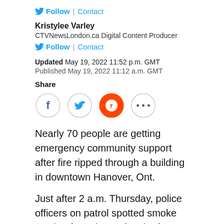Follow | Contact
Kristylee Varley
CTVNewsLondon.ca Digital Content Producer
Follow | Contact
Updated May 19, 2022 11:52 p.m. GMT
Published May 19, 2022 11:12 a.m. GMT
Share
[Figure (other): Social share buttons: Facebook, Twitter, Reddit, and more (...)]
Nearly 70 people are getting emergency community support after fire ripped through a building in downtown Hanover, Ont.
Just after 2 a.m. Thursday, police officers on patrol spotted smoke coming from the roof at the former Forum Hotel Rooming House located at 215 10th St. and called for the fire...